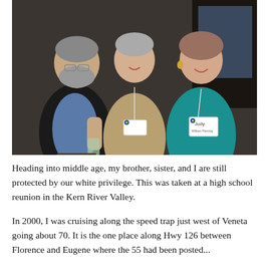[Figure (photo): A black-and-white/faded color photograph of three adults — a man on the left wearing a blazer and holding a drink, a woman in the center wearing a name badge and tan sweater, and a woman on the right in a teal top with a name badge reading 'Judy'. They appear to be at an indoor social event.]
Heading into middle age, my brother, sister, and I are still protected by our white privilege. This was taken at a high school reunion in the Kern River Valley.
In 2000, I was cruising along the speed trap just west of Veneta going about 70. It is the one place along Hwy 126 between Florence and Eugene where the 55 had been posted...